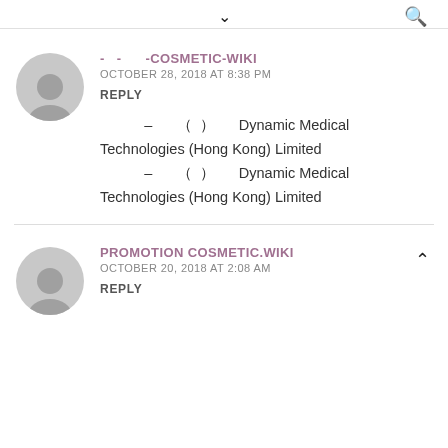▾  🔍
- - -COSMETIC-WIKI
OCTOBER 28, 2018 AT 8:38 PM
REPLY
– （ ） Dynamic Medical Technologies (Hong Kong) Limited – （ ） Dynamic Medical Technologies (Hong Kong) Limited
PROMOTION COSMETIC.WIKI
OCTOBER 20, 2018 AT 2:08 AM
REPLY